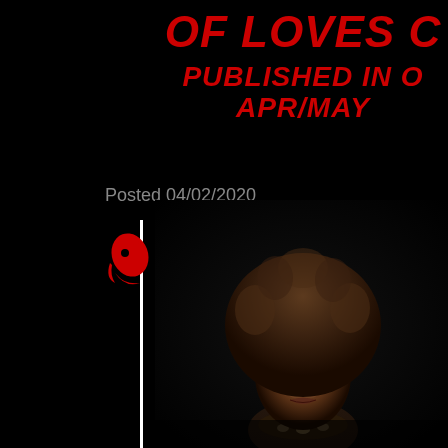OF LOVES C
PUBLISHED IN O
APR/MAY
Posted 04/02/2020
[Figure (photo): A young Black woman with a large natural afro hairstyle, wearing a decorative necklace, photographed against a black background. The photo is partially cropped showing her from approximately the shoulders up.]